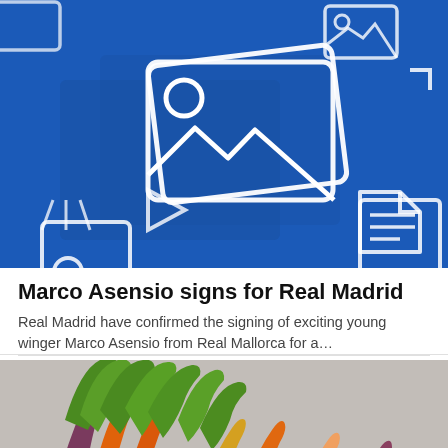[Figure (illustration): Blue background image placeholder graphic with white photo icons, video camera icon, triangle/play icon, and document icon scattered around a central large photo frame icon with mountain and sun landscape symbol]
Marco Asensio signs for Real Madrid
Real Madrid have confirmed the signing of exciting young winger Marco Asensio from Real Mallorca for a…
[Figure (photo): Photo of a bunch of multicolored heirloom carrots with green tops, including orange, purple, and yellow varieties, laid out on a light gray surface]